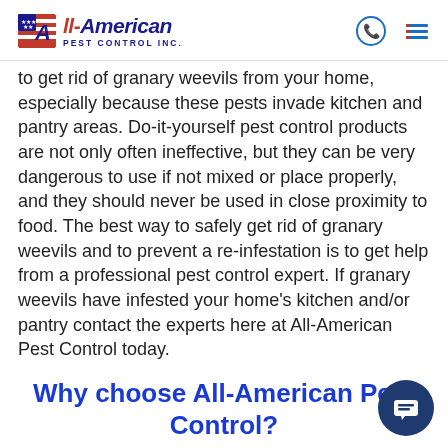All-American Pest Control Inc.
to get rid of granary weevils from your home, especially because these pests invade kitchen and pantry areas. Do-it-yourself pest control products are not only often ineffective, but they can be very dangerous to use if not mixed or place properly, and they should never be used in close proximity to food. The best way to safely get rid of granary weevils and to prevent a re-infestation is to get help from a professional pest control expert. If granary weevils have infested your home's kitchen and/or pantry contact the experts here at All-American Pest Control today.
Why choose All-American Pest Control?
With over 50 years of experience, we know the time,